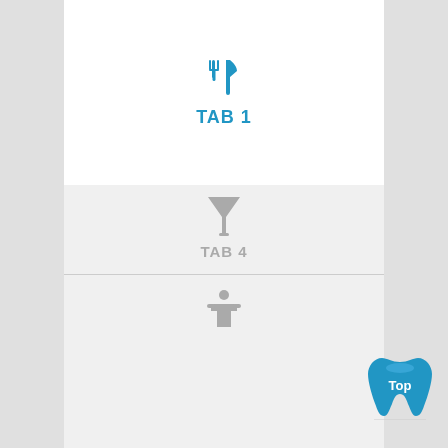[Figure (screenshot): Mobile app tab navigation UI showing TAB 1 (active, blue, fork and knife icon), TAB 2 (lightbulb icon), TAB 3 (taxi car icon), TAB 4 (cocktail glass/filter icon), and a partial 5th tab with person icon. A blue tooth logo with 'Top' text appears in the bottom-right corner.]